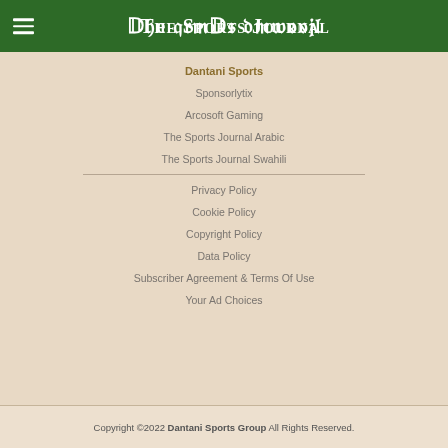The Sports Journal
Dantani Sports
Sponsorlytix
Arcosoft Gaming
The Sports Journal Arabic
The Sports Journal Swahili
Privacy Policy
Cookie Policy
Copyright Policy
Data Policy
Subscriber Agreement & Terms Of Use
Your Ad Choices
Copyright ©2022 Dantani Sports Group All Rights Reserved.